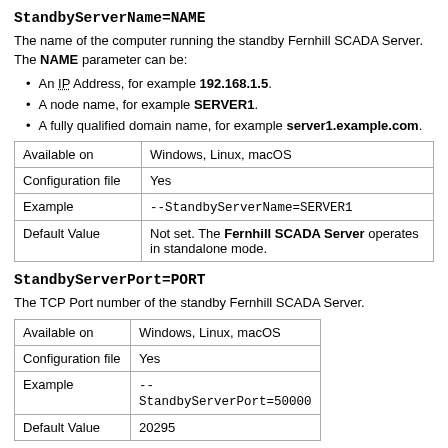StandbyServerName=NAME
The name of the computer running the standby Fernhill SCADA Server. The NAME parameter can be:
An IP Address, for example 192.168.1.5.
A node name, for example SERVER1.
A fully qualified domain name, for example server1.example.com.
|  |  |
| --- | --- |
| Available on | Windows, Linux, macOS |
| Configuration file | Yes |
| Example | --StandbyServerName=SERVER1 |
| Default Value | Not set. The Fernhill SCADA Server operates in standalone mode. |
StandbyServerPort=PORT
The TCP Port number of the standby Fernhill SCADA Server.
|  |  |
| --- | --- |
| Available on | Windows, Linux, macOS |
| Configuration file | Yes |
| Example | --StandbyServerPort=50000 |
| Default Value | 20295 |